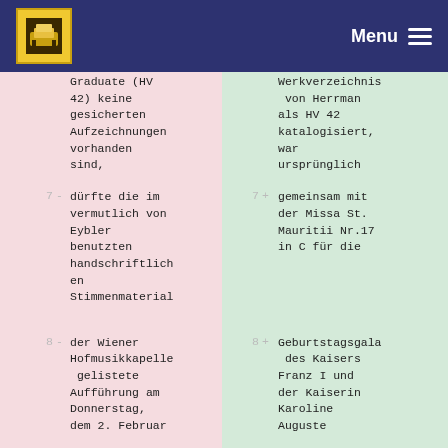Open Tools — Menu
| # |  | Left text |  | # |  | Right text |
| --- | --- | --- | --- | --- | --- | --- |
| 7 | - | dürfte die im vermutlich von Eybler benutzten handschriftlichen Stimmenmaterial |  | 7 | + | gemeinsam mit der Missa St. Mauritii Nr.17 in C für die |
| 8 | - | der Wiener Hofmusikkapelle gelistete Aufführung am Donnerstag, dem 2. Februar |  | 8 | + | Geburtstagsgala des Kaisers Franz I und der Kaiserin Karoline Auguste |